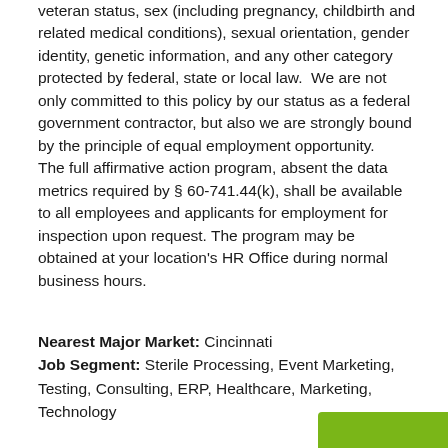veteran status, sex (including pregnancy, childbirth and related medical conditions), sexual orientation, gender identity, genetic information, and any other category protected by federal, state or local law.  We are not only committed to this policy by our status as a federal government contractor, but also we are strongly bound by the principle of equal employment opportunity. The full affirmative action program, absent the data metrics required by § 60-741.44(k), shall be available to all employees and applicants for employment for inspection upon request. The program may be obtained at your location's HR Office during normal business hours.
Nearest Major Market: Cincinnati
Job Segment: Sterile Processing, Event Marketing, Testing, Consulting, ERP, Healthcare, Marketing, Technology